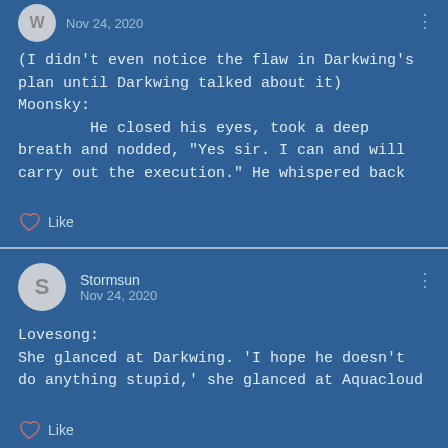W · Nov 24, 2020
(I didn't even notice the flaw in Darkwing's plan until Darkwing talked about it)
Moonsky:
        He closed his eyes, took a deep breath and nodded, "Yes sir. I can and will carry out the execution." He whispered back
Like
Stormsun
Nov 24, 2020
Lovesong:
She glanced at Darkwing. 'I hope he doesn't do anything stupid,' she glanced at Aquacloud
Like